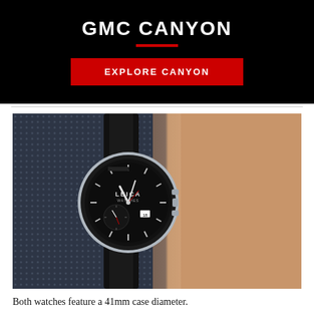GMC CANYON
[Figure (other): Red EXPLORE CANYON button on black background]
[Figure (photo): Close-up photo of a Leica chronograph watch with black dial and leather strap worn on a wrist, with a dark textured fabric jacket in the background]
Both watches feature a 41mm case diameter.